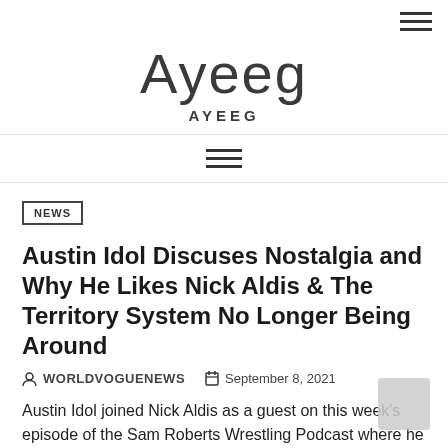Ayeeg
AYEEG
NEWS
Austin Idol Discuses Nostalgia and Why He Likes Nick Aldis & The Territory System No Longer Being Around
WORLDVOGUENEWS   September 8, 2021
Austin Idol joined Nick Aldis as a guest on this week’s episode of the Sam Roberts Wrestling Podcast where he talked about the territory system and nostalgia.Below are some highlights from the interview.